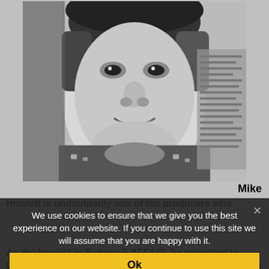[Figure (photo): Black and white portrait photo of Mike Howlett, a man smiling, wearing a patterned shirt, close-up face shot]
Mike Howlett is undoubtedly one of the producers who has...
We use cookies to ensure that we give you the best experience on our website. If you continue to use this site we will assume that you are happy with it.
As the bassist in Sydney... E AFFAIR, he relocated to London after the group... d to England following winning the Hoadley's Battle of the Sounds competition.